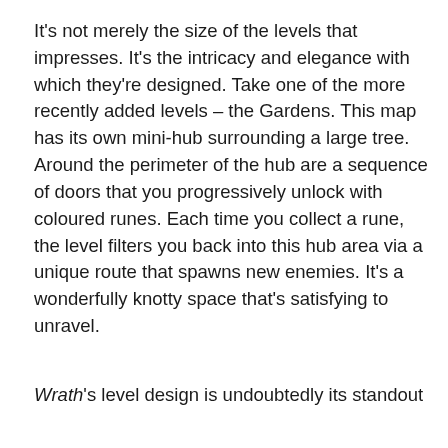It's not merely the size of the levels that impresses. It's the intricacy and elegance with which they're designed. Take one of the more recently added levels – the Gardens. This map has its own mini-hub surrounding a large tree. Around the perimeter of the hub are a sequence of doors that you progressively unlock with coloured runes. Each time you collect a rune, the level filters you back into this hub area via a unique route that spawns new enemies. It's a wonderfully knotty space that's satisfying to unravel.
Wrath's level design is undoubtedly its standout feature. Demon hunters are all delighted to...